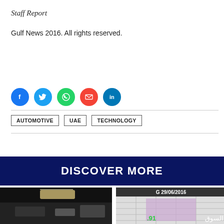Staff Report
Gulf News 2016. All rights reserved.
[Figure (infographic): Social media share icons: Facebook, Twitter, WhatsApp, Email, LinkedIn]
AUTOMOTIVE
UAE
TECHNOLOGY
DISCOVER MORE
[Figure (photo): Two thumbnail images: left shows a dark indoor scene, right shows a stock market board with date G 29/06/2016 and Arabic text السوق]